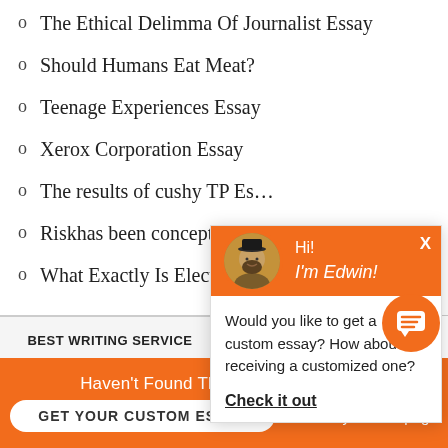The Ethical Delimma Of Journalist Essay
Should Humans Eat Meat?
Teenage Experiences Essay
Xerox Corporation Essay
The results of cushy TP Es…
Riskhas been conceptualiz…
What Exactly Is Electronic…
[Figure (screenshot): Chat popup with orange header showing avatar of a man with beard and text 'Hi! I'm Edwin!' and body text 'Would you like to get a custom essay? How about receiving a customized one?' with a 'Check it out' link]
BEST WRITING SERVICE
Haven't Found The Essay You Want?
GET YOUR CUSTOM ESSAY    For Only $13.90/page